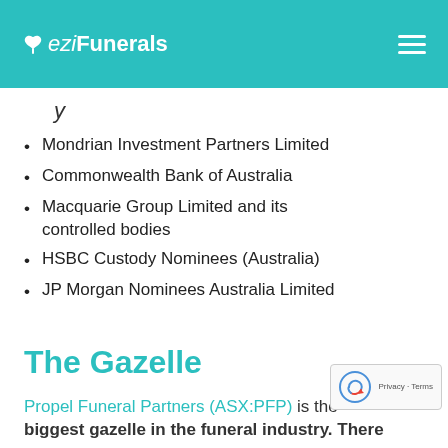eziFunerals
y
Mondrian Investment Partners Limited
Commonwealth Bank of Australia
Macquarie Group Limited and its controlled bodies
HSBC Custody Nominees (Australia)
JP Morgan Nominees Australia Limited
The Gazelle
Propel Funeral Partners (ASX:PFP) is the biggest gazelle in the funeral industry. There